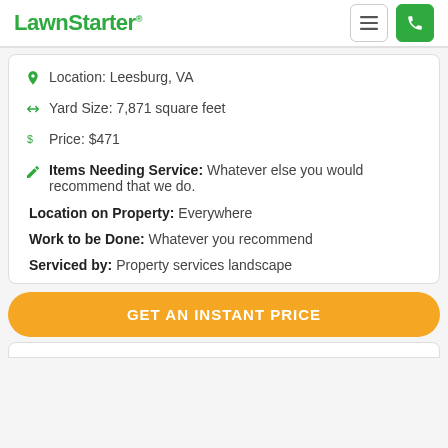LawnStarter
Location: Leesburg, VA
Yard Size: 7,871 square feet
Price: $471
Items Needing Service: Whatever else you would recommend that we do.
Location on Property: Everywhere
Work to be Done: Whatever you recommend
Serviced by: Property services landscape
GET AN INSTANT PRICE